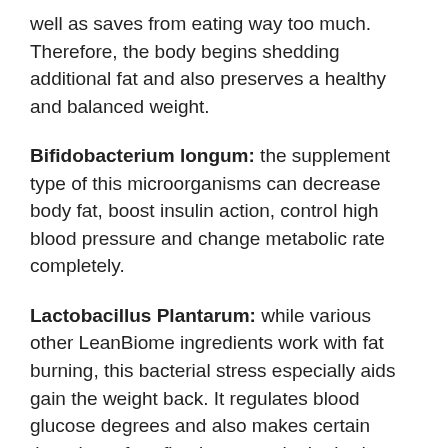well as saves from eating way too much. Therefore, the body begins shedding additional fat and also preserves a healthy and balanced weight.
Bifidobacterium longum: the supplement type of this microorganisms can decrease body fat, boost insulin action, control high blood pressure and change metabolic rate completely.
Lactobacillus Plantarum: while various other LeanBiome ingredients work with fat burning, this bacterial stress especially aids gain the weight back. It regulates blood glucose degrees and also makes certain there is no free-floating sugar in the body.